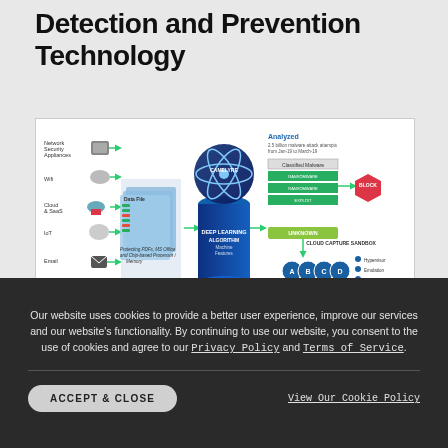Detection and Prevention Technology
[Figure (infographic): Deep learning malware detection and prevention system diagram showing sources (Network Security Appliances, Wifi, Cloud & SaaS, IoT, Email, Endpoints) feeding into a CAMELYZE deep learning algorithm engine that classifies malware into categories, blocks threats via a red BLOCK hexagon, and routes unknown threats through a Cloud Capture Sandbox with Hypervisor, Emulation, Virtualization, and Memory/BIOS components before SENT or BLOCK AND DISCARD decision.]
Our website uses cookies to provide a better user experience, improve our services and our website's functionality. By continuing to use our website, you consent to the use of cookies and agree to our Privacy Policy and Terms of Service.
ACCEPT & CLOSE
View Our Cookie Policy